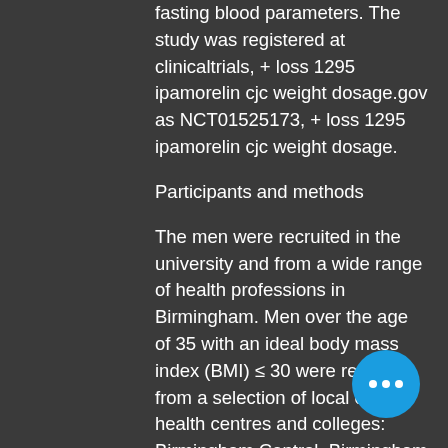fasting blood parameters. The study was registered at clinicaltrials, + loss 1295 ipamorelin cjc weight dosage.gov as NCT01525173, + loss 1295 ipamorelin cjc weight dosage.
Participants and methods
The men were recruited in the university and from a wide range of health professions in Birmingham. Men over the age of 35 with an ideal body mass index (BMI) ≤ 30 were recruited from a selection of local clinics, health centres and colleges: Birmingham Central, Birmingham Medical Centre, Alumbridge Healthcare, the Birmingham Health and Social Care Trust, Birmingham Women's Health Centre, Royal Victoria Hospital, West End Healthcare, Royal Victoria Hospital Medical Centre, King Edward VII's Hospital and University H… Birmingham. All participants completed